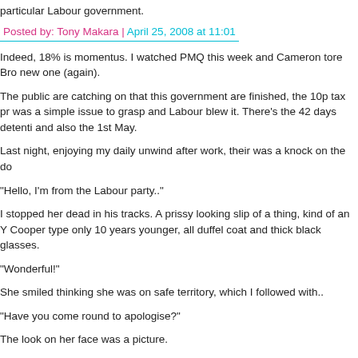particular Labour government.
Posted by: Tony Makara | April 25, 2008 at 11:01
Indeed, 18% is momentus. I watched PMQ this week and Cameron tore Bro new one (again).
The public are catching on that this government are finished, the 10p tax pr was a simple issue to grasp and Labour blew it. There's the 42 days detenti and also the 1st May.
Last night, enjoying my daily unwind after work, their was a knock on the do
"Hello, I'm from the Labour party.."
I stopped her dead in his tracks. A prissy looking slip of a thing, kind of an Y Cooper type only 10 years younger, all duffel coat and thick black glasses.
"Wonderful!"
She smiled thinking she was on safe territory, which I followed with..
"Have you come round to apologise?"
The look on her face was a picture.
Posted by: Mike T | April 25, 2008 at 11:24